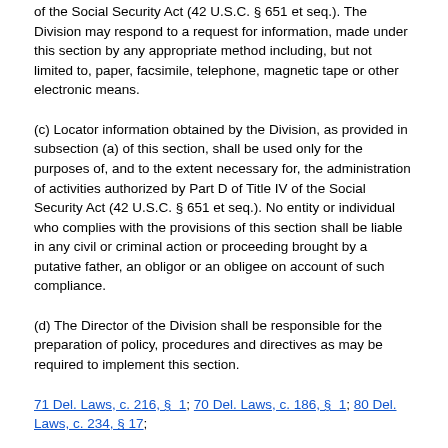of the Social Security Act (42 U.S.C. § 651 et seq.). The Division may respond to a request for information, made under this section by any appropriate method including, but not limited to, paper, facsimile, telephone, magnetic tape or other electronic means.
(c) Locator information obtained by the Division, as provided in subsection (a) of this section, shall be used only for the purposes of, and to the extent necessary for, the administration of activities authorized by Part D of Title IV of the Social Security Act (42 U.S.C. § 651 et seq.). No entity or individual who complies with the provisions of this section shall be liable in any civil or criminal action or proceeding brought by a putative father, an obligor or an obligee on account of such compliance.
(d) The Director of the Division shall be responsible for the preparation of policy, procedures and directives as may be required to implement this section.
71 Del. Laws, c. 216, § 1; 70 Del. Laws, c. 186, § 1; 80 Del. Laws, c. 234, § 17;
§ 2214. Collection and use of Social Security numbers.
(a) The Division of Child Support Services shall have access to the Social Security number of: